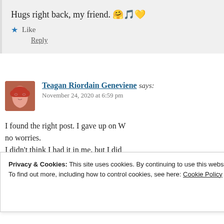Hugs right back, my friend. 🤗🎵💛
★ Like
Reply
Teagan Riordain Geneviene says:
November 24, 2020 at 6:59 pm
I found the right post. I gave up on W no worries.
I didn't think I had it in me, but I did live tomorrow. LOL, although I don't want to see! 😀
Privacy & Cookies: This site uses cookies. By continuing to use this website, you agree to their use.
To find out more, including how to control cookies, see here: Cookie Policy
Close and accept